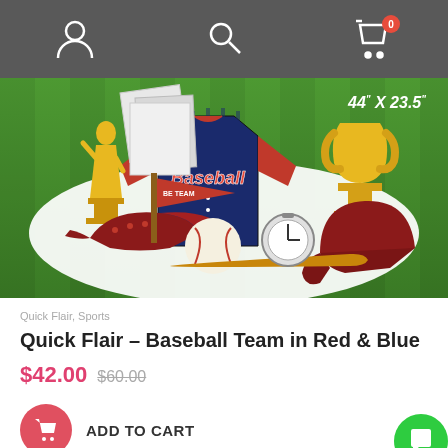Navigation bar with user account icon, search icon, and shopping cart icon with badge showing 0
[Figure (illustration): Baseball product banner on green grass background showing a baseball jersey with 'Baseball' text in red and blue colors, trophy cups, baseball cap, baseball, bat, helmet, stopwatch, and gold trophy figure. Dimension label reads 44" x 23.5"]
Quick Flair, Sports
Quick Flair – Baseball Team in Red & Blue
$42.00  $60.00
ADD TO CART